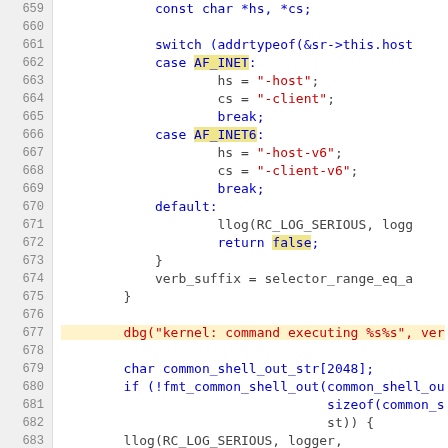[Figure (screenshot): Source code viewer showing C/C++ code lines 659–683 with syntax highlighting. Line numbers in gray column on left, code with blue keywords, red strings, yellow highlights on AF_INET/AF_INET6/false identifiers.]